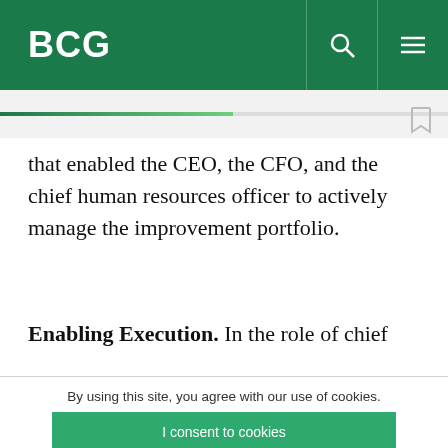BCG
that enabled the CEO, the CFO, and the chief human resources officer to actively manage the improvement portfolio.
Enabling Execution. In the role of chief
By using this site, you agree with our use of cookies.
I consent to cookies
Want to know more?
Read our Cookie Policy